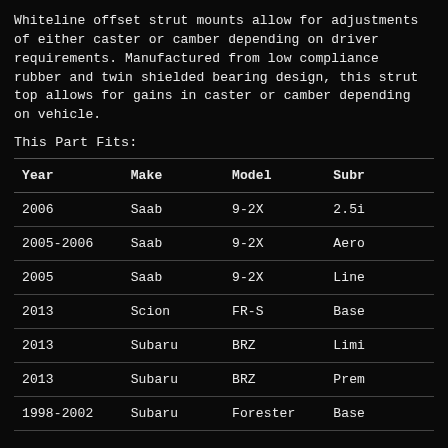Whiteline offset strut mounts allow for adjustments of either caster or camber depending on driver requirements. Manufactured from low compliance rubber and twin shielded bearing design, this strut top allows for gains in caster or camber depending on vehicle.
This Part Fits:
| Year | Make | Model | Subr |
| --- | --- | --- | --- |
| 2006 | Saab | 9-2X | 2.5i |
| 2005-2006 | Saab | 9-2X | Aero |
| 2005 | Saab | 9-2X | Line |
| 2013 | Scion | FR-S | Base |
| 2013 | Subaru | BRZ | Limi |
| 2013 | Subaru | BRZ | Prem |
| 1998-2002 | Subaru | Forester | Base |